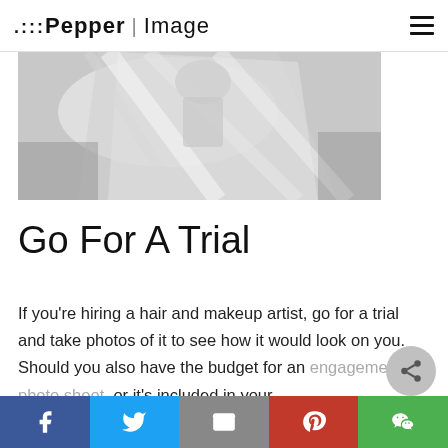Pepper | Image
[Figure (photo): Black and white photo of a bride with flowing veil fabric]
Go For A Trial
If you're hiring a hair and makeup artist, go for a trial and take photos of it to see how it would look on you.  Should you also have the budget for an engagement photo shoot, or it's included in your
Facebook | Twitter | Email | Pinterest | WeChat